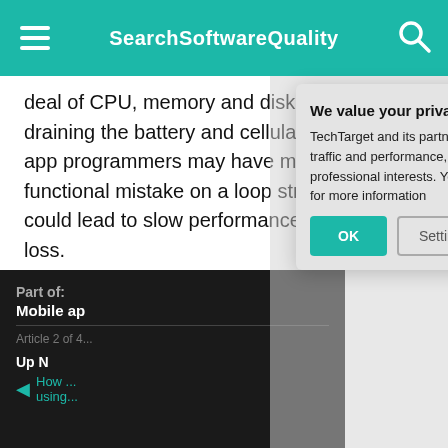SearchSoftwareQuality
deal of CPU, memory and disk; it's also likely draining the battery and cellular data. The app programmers may have made a functional mistake on a loop structure, which could lead to slow performance and memory loss.
8. Memory lo...
Run the applica...
Part of:
Mobile ap...
Article 2 of 4...
Up N...
How ... using...
We value your privacy.
TechTarget and its partners employ cookies to improve your experience on our site, to analyze traffic and performance, and to serve personalized content and advertising that are relevant to your professional interests. You can manage your settings at any time. Please view our Privacy Policy for more information